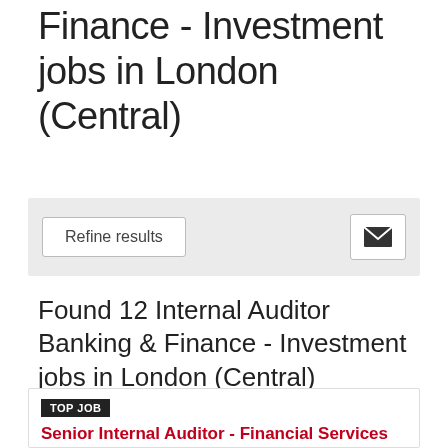Finance - Investment jobs in London (Central)
[Figure (screenshot): Filter bar with 'Refine results' button and email icon button on grey background]
Found 12 Internal Auditor Banking & Finance - Investment jobs in London (Central)
TOP JOB
Senior Internal Auditor - Financial Services
Exeter / Bristol / Bath
£42000 - £55000 per annum + Benefits
[Figure (logo): Jefferson Tiley company logo with purple hexagon shapes]